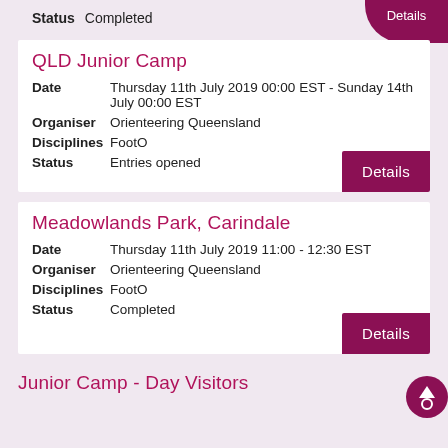Status: Completed
QLD Junior Camp
Date: Thursday 11th July 2019 00:00 EST - Sunday 14th July 00:00 EST
Organiser: Orienteering Queensland
Disciplines: FootO
Status: Entries opened
Meadowlands Park, Carindale
Date: Thursday 11th July 2019 11:00 - 12:30 EST
Organiser: Orienteering Queensland
Disciplines: FootO
Status: Completed
Junior Camp - Day Visitors